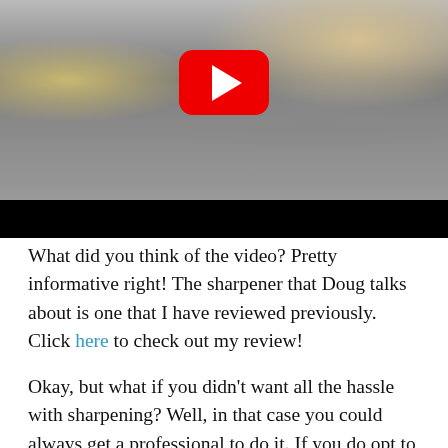[Figure (screenshot): A YouTube video thumbnail showing hands, knives, and equipment on a dark cloth surface, with a red YouTube play button overlay in the center. A black bar appears at the bottom of the video player.]
What did you think of the video? Pretty informative right! The sharpener that Doug talks about is one that I have reviewed previously. Click here to check out my review!
Okay, but what if you didn't want all the hassle with sharpening? Well, in that case you could always get a professional to do it. If you do opt to follow this route, I would strongly suggest you do your homework and research all the available sharpening services.